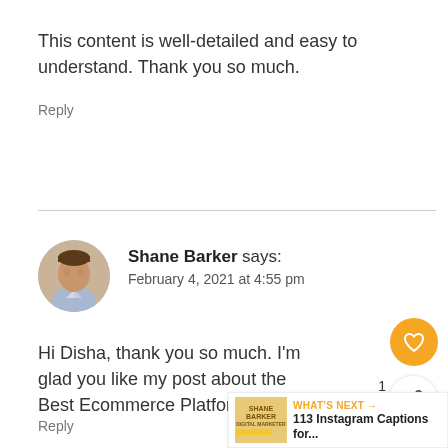This content is well-detailed and easy to understand. Thank you so much.
Reply
Shane Barker says:
February 4, 2021 at 4:55 pm
[Figure (photo): Circular avatar photo of Shane Barker, a man in a light blue shirt]
Hi Disha, thank you so much. I'm glad you like my post about the Best Ecommerce Platforms.
Reply